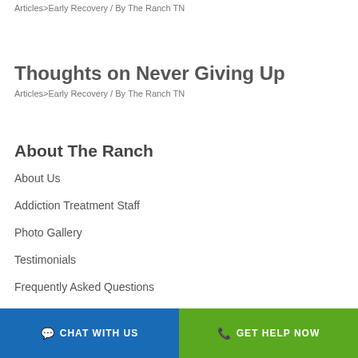Articles>Early Recovery / By The Ranch TN
Thoughts on Never Giving Up
Articles>Early Recovery / By The Ranch TN
About The Ranch
About Us
Addiction Treatment Staff
Photo Gallery
Testimonials
Frequently Asked Questions
CHAT WITH US   GET HELP NOW